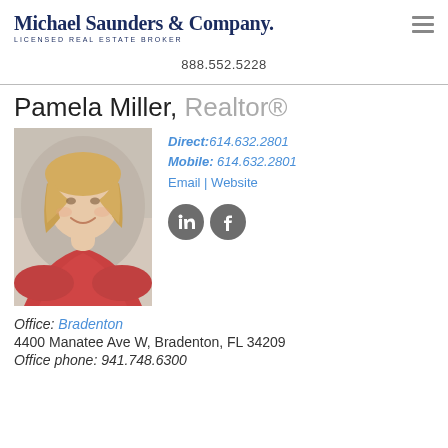[Figure (logo): Michael Saunders & Company logo with tagline LICENSED REAL ESTATE BROKER]
888.552.5228
Pamela Miller, Realtor®
[Figure (photo): Professional headshot of Pamela Miller, a blonde woman wearing a red top, smiling]
Direct:614.632.2801
Mobile: 614.632.2801
Email | Website
[Figure (other): LinkedIn and Facebook social media icon circles]
Office: Bradenton
4400 Manatee Ave W, Bradenton, FL 34209
Office phone: 941.748.6300